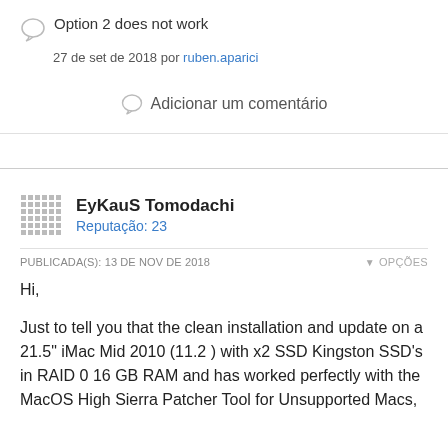Option 2 does not work
27 de set de 2018 por ruben.aparici
Adicionar um comentário
EyKauS Tomodachi
Reputação: 23
PUBLICADA(S): 13 DE NOV DE 2018    ▾ OPÇÕES
Hi,
Just to tell you that the clean installation and update on a 21.5" iMac Mid 2010 (11.2 ) with x2 SSD Kingston SSD's in RAID 0 16 GB RAM and has worked perfectly with the MacOS High Sierra Patcher Tool for Unsupported Macs, using HFS+ (not APFS).